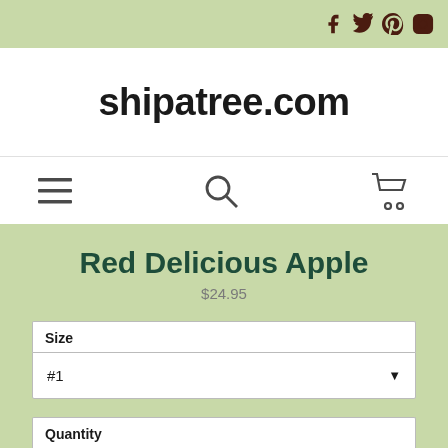Social icons: Facebook, Twitter, Pinterest, Instagram
shipatree.com
[Figure (other): Navigation bar with hamburger menu, search icon, and cart icon]
Red Delicious Apple
$24.95
Size
#1
Quantity